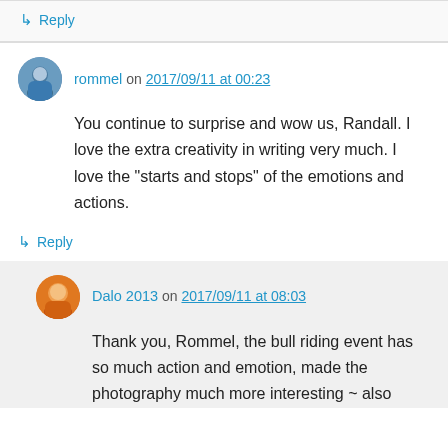↳ Reply
rommel on 2017/09/11 at 00:23
You continue to surprise and wow us, Randall. I love the extra creativity in writing very much. I love the "starts and stops" of the emotions and actions.
↳ Reply
Dalo 2013 on 2017/09/11 at 08:03
Thank you, Rommel, the bull riding event has so much action and emotion, made the photography much more interesting ~ also